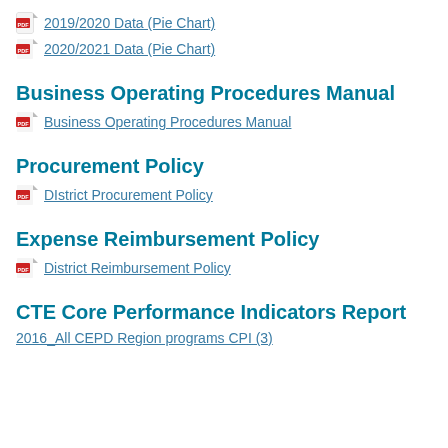2019/2020 Data (Pie Chart)
2020/2021 Data (Pie Chart)
Business Operating Procedures Manual
Business Operating Procedures Manual
Procurement Policy
DIstrict Procurement Policy
Expense Reimbursement Policy
District Reimbursement Policy
CTE Core Performance Indicators Report
2016_All CEPD Region programs CPI (3)